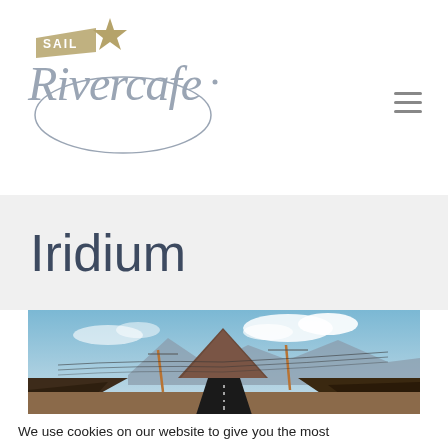[Figure (logo): Sail Rivercafe logo with script lettering and star]
Iridium
[Figure (photo): A straight road leading toward a volcanic mountain under blue sky with utility poles and lava fields on either side (Lanzarote landscape)]
We use cookies on our website to give you the most